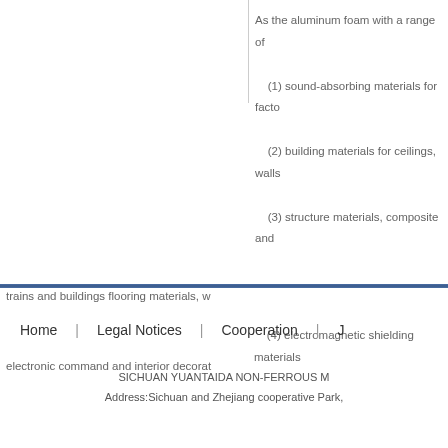As the aluminum foam with a range of
(1) sound-absorbing materials for facto
(2) building materials for ceilings, walls
(3) structure materials, composite and trains and buildings flooring materials, w
(4) electromagnetic shielding materials electronic command and interior decorat
Home | Legal Notices | Cooperation | J
SICHUAN YUANTAIDA NON-FERROUS M
Address:Sichuan and Zhejiang cooperative Park,